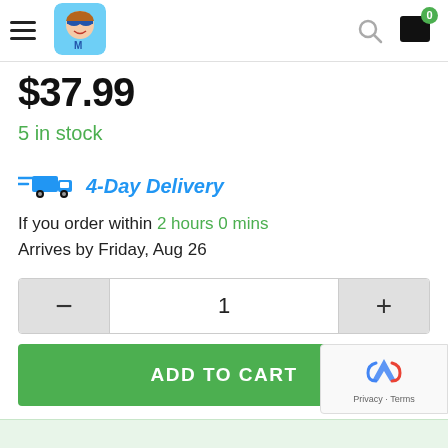Navigation header with hamburger menu, logo, search icon, and cart (0 items)
$37.99
5 in stock
4-Day Delivery
If you order within 2 hours 0 mins
Arrives by Friday, Aug 26
1
ADD TO CART